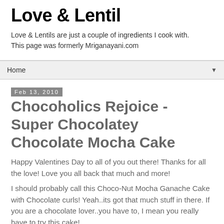Love & Lentil
Love & Lentils are just a couple of ingredients I cook with. This page was formerly Mriganayani.com
Home ▼
Feb 13, 2010
Chocoholics Rejoice - Super Chocolatey Chocolate Mocha Cake
Happy Valentines Day to all of you out there! Thanks for all the love! Love you all back that much and more!
I should probably call this Choco-Nut Mocha Ganache Cake with Chocolate curls! Yeah..its got that much stuff in there. If you are a chocolate lover..you have to, I mean you really have to try this cake!